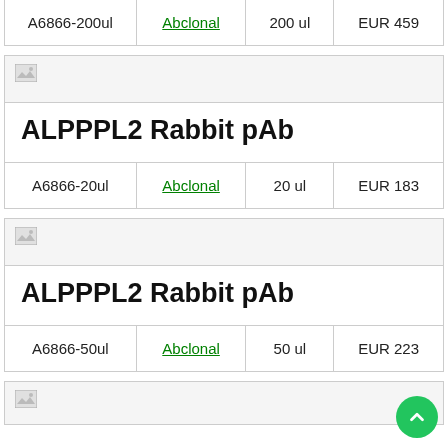| Product | Vendor | Size | Price |
| --- | --- | --- | --- |
| A6866-200ul | Abclonal | 200 ul | EUR 459 |
[Figure (photo): Broken image icon for ALPPPL2 Rabbit pAb product]
ALPPPL2 Rabbit pAb
| Product | Vendor | Size | Price |
| --- | --- | --- | --- |
| A6866-20ul | Abclonal | 20 ul | EUR 183 |
[Figure (photo): Broken image icon for ALPPPL2 Rabbit pAb product]
ALPPPL2 Rabbit pAb
| Product | Vendor | Size | Price |
| --- | --- | --- | --- |
| A6866-50ul | Abclonal | 50 ul | EUR 223 |
[Figure (photo): Broken image icon for next product (partial)]